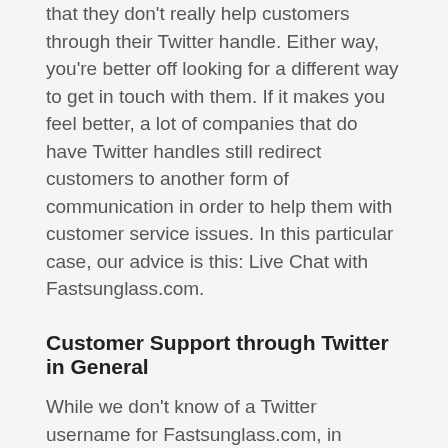that they don't really help customers through their Twitter handle. Either way, you're better off looking for a different way to get in touch with them. If it makes you feel better, a lot of companies that do have Twitter handles still redirect customers to another form of communication in order to help them with customer service issues. In this particular case, our advice is this: Live Chat with Fastsunglass.com.
Customer Support through Twitter in General
While we don't know of a Twitter username for Fastsunglass.com, in general we do support helping you find a way to contact companies over Twitter for the purposes of handling customer service problems. With our problem-specific help tools, we help you